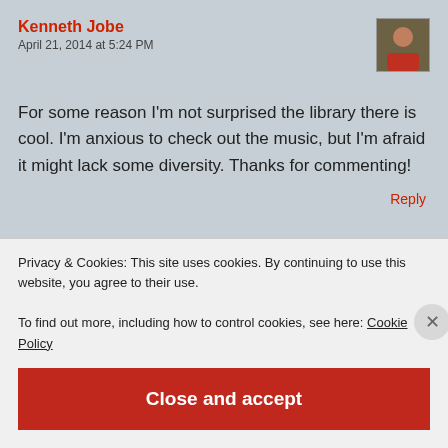Kenneth Jobe
April 21, 2014 at 5:24 PM
For some reason I'm not surprised the library there is cool. I'm anxious to check out the music, but I'm afraid it might lack some diversity. Thanks for commenting!
Reply
Rachel Tooman
Privacy & Cookies: This site uses cookies. By continuing to use this website, you agree to their use.
To find out more, including how to control cookies, see here: Cookie Policy
Close and accept